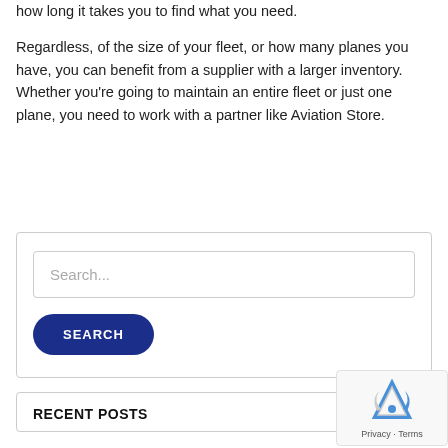how long it takes you to find what you need.
Regardless, of the size of your fleet, or how many planes you have, you can benefit from a supplier with a larger inventory. Whether you’re going to maintain an entire fleet or just one plane, you need to work with a partner like Aviation Store.
[Figure (screenshot): Search widget with a text input field showing placeholder text 'Search...' and a dark blue rounded button labeled 'SEARCH']
RECENT POSTS